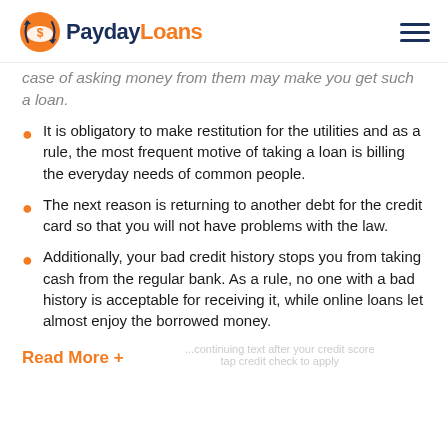PaydayLoans
case of asking money from them may make you get such a loan.
It is obligatory to make restitution for the utilities and as a rule, the most frequent motive of taking a loan is billing the everyday needs of common people.
The next reason is returning to another debt for the credit card so that you will not have problems with the law.
Additionally, your bad credit history stops you from taking cash from the regular bank. As a rule, no one with a bad history is acceptable for receiving it, while online loans let almost enjoy the borrowed money.
Read More +